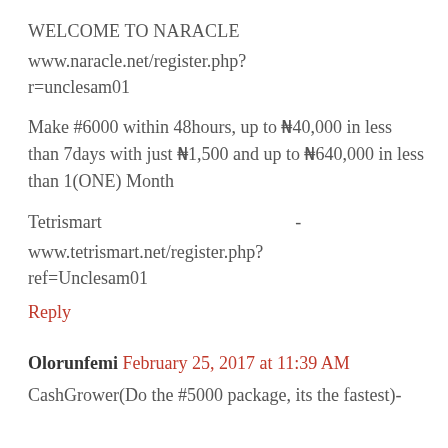WELCOME TO NARACLE
www.naracle.net/register.php?r=unclesam01
Make #6000 within 48hours, up to ₦40,000 in less than 7days with just ₦1,500 and up to ₦640,000 in less than 1(ONE) Month
Tetrismart - www.tetrismart.net/register.php?ref=Unclesam01
Reply
Olorunfemi February 25, 2017 at 11:39 AM
CashGrower(Do the #5000 package, its the fastest)-